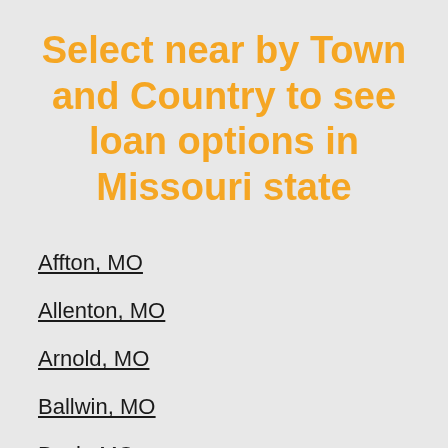Select near by Town and Country to see loan options in Missouri state
Affton, MO
Allenton, MO
Arnold, MO
Ballwin, MO
Beck, MO